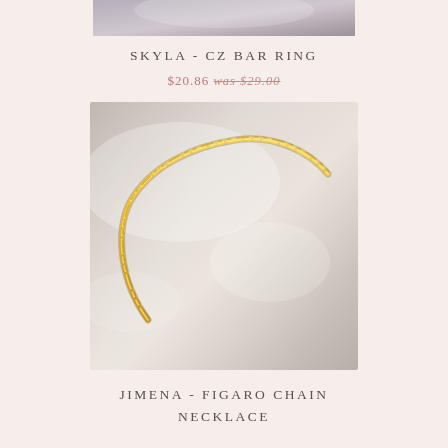[Figure (photo): Top portion of a product photo strip showing a blurred purple/grey background, partially cut off at top of page]
SKYLA - CZ BAR RING
$20.86 was $29.00
[Figure (photo): Gold figaro chain necklace laid on a soft grey silky fabric background. The chain has alternating large and small oval links typical of a figaro style, photographed from above.]
JIMENA - FIGARO CHAIN NECKLACE